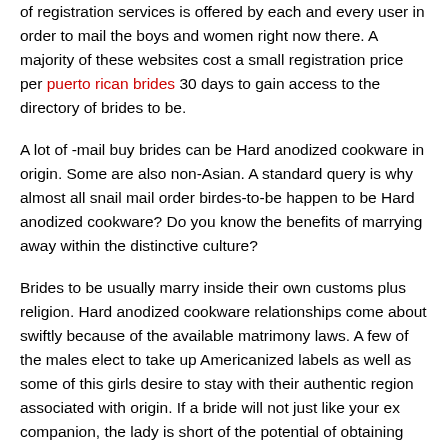of registration services is offered by each and every user in order to mail the boys and women right now there. A majority of these websites cost a small registration price per puerto rican brides 30 days to gain access to the directory of brides to be.
A lot of -mail buy brides can be Hard anodized cookware in origin. Some are also non-Asian. A standard query is why almost all snail mail order birdes-to-be happen to be Hard anodized cookware? Do you know the benefits of marrying away within the distinctive culture?
Brides to be usually marry inside their own customs plus religion. Hard anodized cookware relationships come about swiftly because of the available matrimony laws. A few of the males elect to take up Americanized labels as well as some of this girls desire to stay with their authentic region associated with origin. If a bride will not just like your ex companion, the lady is short of the potential of obtaining one other opportunity to swap it.